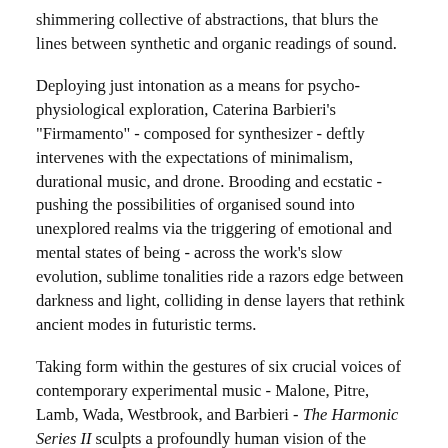shimmering collective of abstractions, that blurs the lines between synthetic and organic readings of sound.
Deploying just intonation as a means for psycho-physiological exploration, Caterina Barbieri's "Firmamento" - composed for synthesizer - deftly intervenes with the expectations of minimalism, durational music, and drone. Brooding and ecstatic - pushing the possibilities of organised sound into unexplored realms via the triggering of emotional and mental states of being - across the work's slow evolution, sublime tonalities ride a razors edge between darkness and light, colliding in dense layers that rethink ancient modes in futuristic terms.
Taking form within the gestures of six crucial voices of contemporary experimental music - Malone, Pitre, Lamb, Wada, Westbrook, and Barbieri - The Harmonic Series II sculpts a profoundly human vision of the potential of art, where the historic becomes present and future, and the divisions imposed by cultural and temporal boundaries dissolve. Like the generations that have embraced it before them, each artist harnesses just intonation as a means to progress toward unknown territories of creative possibility and to readdress how